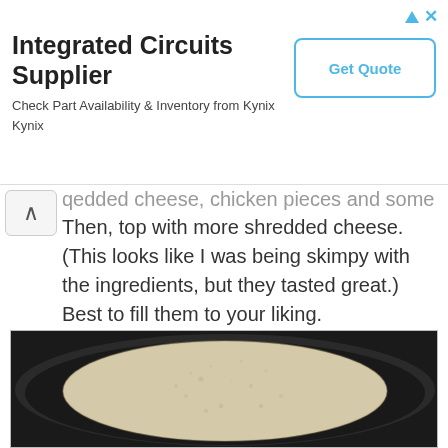[Figure (screenshot): Advertisement banner for Integrated Circuits Supplier — Kynix. Shows title 'Integrated Circuits Supplier', description 'Check Part Availability & Inventory from Kynix Kynix', and a 'Get Quote' button. Ad close icons (triangle and X) in top right.]
redded cheese, chicken pieces and some salsa. Then, top with more shredded cheese.  (This looks like I was being skimpy with the ingredients, but they tasted great.)  Best to fill them to your liking.
[Figure (photo): A flour tortilla in a dark non-stick frying pan, viewed from above. The tortilla is round, pale/cream colored with slight browning spots, filling most of the pan.]